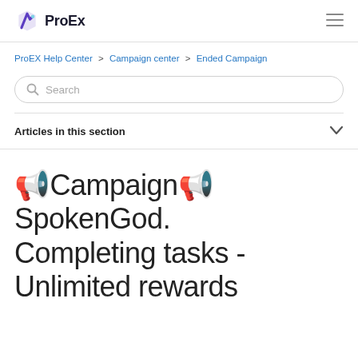ProEx
ProEX Help Center > Campaign center > Ended Campaign
Search
Articles in this section
📢CampaignSpokenGod. Completing tasks - Unlimited rewards